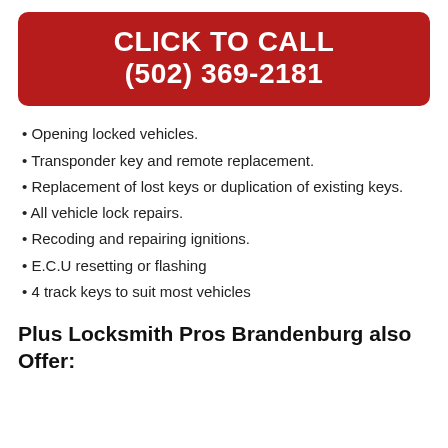CLICK TO CALL
(502) 369-2181
Opening locked vehicles.
Transponder key and remote replacement.
Replacement of lost keys or duplication of existing keys.
All vehicle lock repairs.
Recoding and repairing ignitions.
E.C.U resetting or flashing
4 track keys to suit most vehicles
Plus Locksmith Pros Brandenburg also Offer: